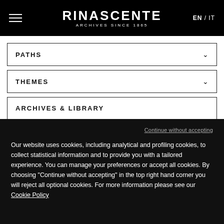RINASCENTE ARCHIVES SINCE 1865 EN / IT
PATHS
THEMES
ARCHIVES & LIBRARY
ARCHIVES
LIBRARY
1865 – 2015
Continue without accepting
Our website uses cookies, including analytical and profiling cookies, to collect statistical information and to provide you with a tailored experience. You can manage your preferences or accept all cookies. By choosing "Continue without accepting" in the top right hand corner you will reject all optional cookies. For more information please see our Cookie Policy